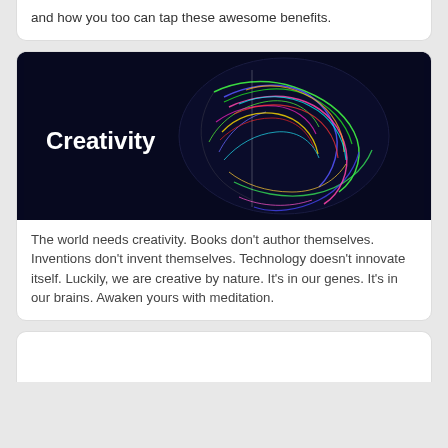and how you too can tap these awesome benefits.
[Figure (illustration): Dark blue background image of a colorful neon brain with the word 'Creativity' in white bold text on the left side]
The world needs creativity. Books don't author themselves. Inventions don't invent themselves. Technology doesn't innovate itself. Luckily, we are creative by nature. It's in our genes. It's in our brains. Awaken yours with meditation.